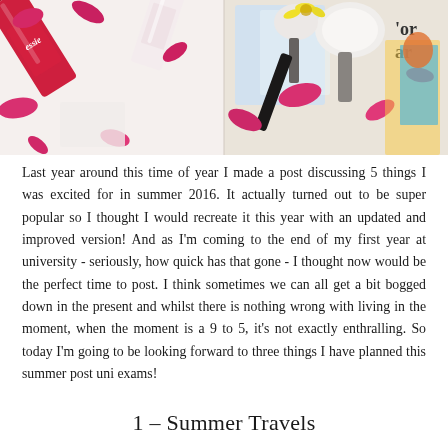[Figure (photo): Two-panel flat lay photo: left panel shows pink/red Essie nail polish bottle and white nail polish bottle with scattered pink flower petals on white background; right panel shows makeup brushes, pink petals, and colorful magazine pages on light background.]
Last year around this time of year I made a post discussing 5 things I was excited for in summer 2016. It actually turned out to be super popular so I thought I would recreate it this year with an updated and improved version! And as I'm coming to the end of my first year at university - seriously, how quick has that gone - I thought now would be the perfect time to post. I think sometimes we can all get a bit bogged down in the present and whilst there is nothing wrong with living in the moment, when the moment is a 9 to 5, it's not exactly enthralling. So today I'm going to be looking forward to three things I have planned this summer post uni exams!
1 – Summer Travels